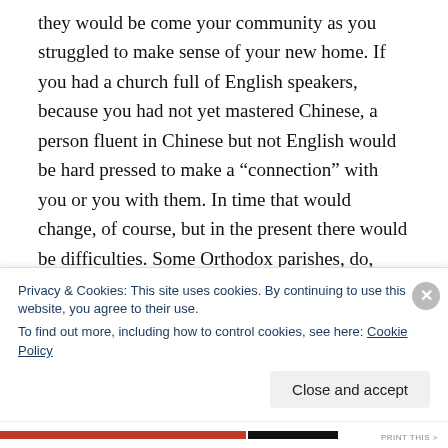they would be come your community as you struggled to make sense of your new home. If you had a church full of English speakers, because you had not yet mastered Chinese, a person fluent in Chinese but not English would be hard pressed to make a “connection” with you or you with them. In time that would change, of course, but in the present there would be difficulties. Some Orthodox parishes, do, however cling to a non local language for sentimental reasons and when they do so they are committing a sing called phyletism,
Privacy & Cookies: This site uses cookies. By continuing to use this website, you agree to their use.
To find out more, including how to control cookies, see here: Cookie Policy
Close and accept